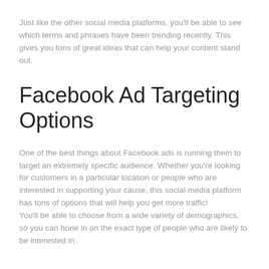Just like the other social media platforms, you'll be able to see which terms and phrases have been trending recently. This gives you tons of great ideas that can help your content stand out.
Facebook Ad Targeting Options
One of the best things about Facebook ads is running them to target an extremely specific audience. Whether you're looking for customers in a particular location or people who are interested in supporting your cause, this social media platform has tons of options that will help you get more traffic!
You'll be able to choose from a wide variety of demographics, so you can hone in on the exact type of people who are likely to be interested in